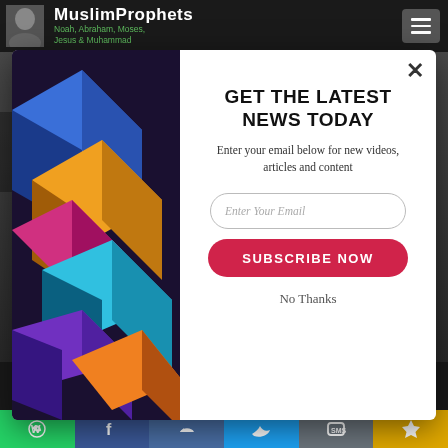[Figure (screenshot): MuslimProphets website navigation bar with logo showing person, site title 'MuslimProphets' with subtitle 'Noah, Abraham, Moses, Jesus & Muhammad', and hamburger menu button on the right]
[Figure (screenshot): Website background content showing 'Charles Hedrick' text and a darkened room photograph]
[Figure (screenshot): Email subscription modal popup with colorful geometric 3D cube illustration on the left side, and on the right: heading 'GET THE LATEST NEWS TODAY', subtext 'Enter your email below for new videos, articles and content', email input field 'Enter Your Email', red 'SUBSCRIBE NOW' button, close X button, and 'No Thanks' link. Background shows the MuslimProphets website.]
[Figure (screenshot): Bottom social sharing bar with WhatsApp, Facebook, Like, Twitter, SMS, and share icons, plus a SUMO badge, notification bubble with count 1, scroll-to-top arrow button]